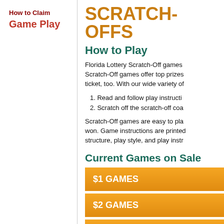How to Claim
Game Play
SCRATCH-OFFS
How to Play
Florida Lottery Scratch-Off games Scratch-Off games offer top prizes ticket, too. With our wide variety of
1. Read and follow play instructi
2. Scratch off the scratch-off coa
Scratch-Off games are easy to pla won. Game instructions are printed structure, play style, and play instr
Current Games on Sale
$1 GAMES
$2 GAMES
$3 GAMES
$5 GAMES